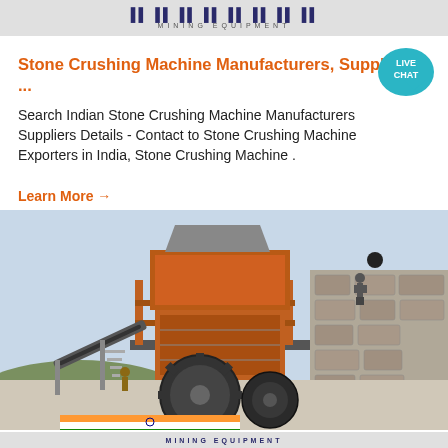MINING EQUIPMENT
Stone Crushing Machine Manufacturers, Suppliers ...
Search Indian Stone Crushing Machine Manufacturers Suppliers Details - Contact to Stone Crushing Machine Exporters in India, Stone Crushing Machine .
[Figure (illustration): Live chat speech bubble icon with text LIVE CHAT in teal/blue color]
Learn More →
[Figure (photo): Large industrial stone crushing machine facility with orange metal framework, conveyor belts, large wheel/gear mechanism in foreground, stone wall on right, workers visible, Indian flag motif at bottom]
MINING EQUIPMENT